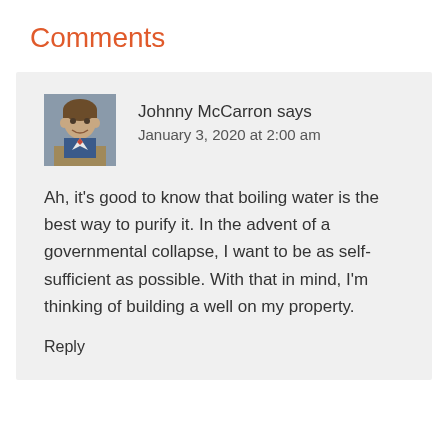Comments
Johnny McCarron says
January 3, 2020 at 2:00 am
Ah, it's good to know that boiling water is the best way to purify it. In the advent of a governmental collapse, I want to be as self-sufficient as possible. With that in mind, I'm thinking of building a well on my property.
Reply